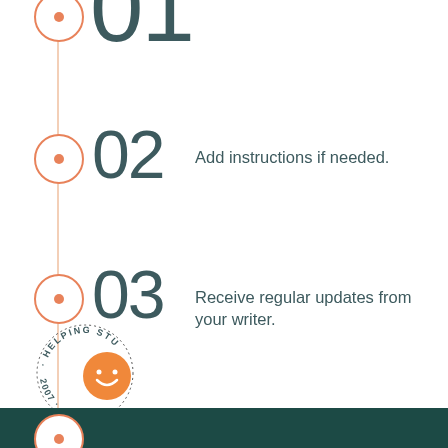01
02 — Add instructions if needed.
03 — Receive regular updates from your writer.
04 — Get your dissertation or paper done.
[Figure (logo): Circular badge with text 'HELPING STUDENTS' and '2007' around a smiley face icon, with a dark teal footer bar]
HELPING STUDENTS · 2007